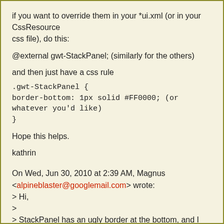if you want to override them in your *ui.xml (or in your CssResource css file), do this:
@external gwt-StackPanel; (similarly for the others)
and then just have a css rule
.gwt-StackPanel {
border-bottom: 1px solid #FF0000; (or whatever you'd like)
}
Hope this helps.
kathrin
On Wed, Jun 30, 2010 at 2:39 AM, Magnus <alpineblaster@googlemail.com> wrote:
> Hi,
>
> StackPanel has an ugly border at the bottom, and I verified that this